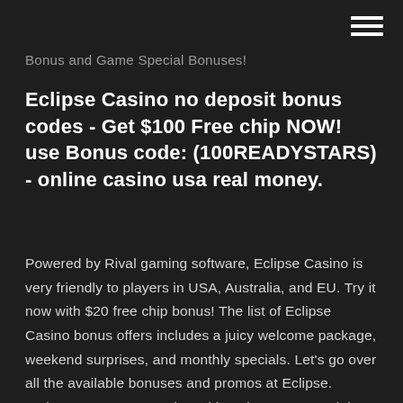Bonus and Game Special Bonuses!
Eclipse Casino no deposit bonus codes - Get $100 Free chip NOW! use Bonus code: (100READYSTARS) - online casino usa real money.
Powered by Rival gaming software, Eclipse Casino is very friendly to players in USA, Australia, and EU. Try it now with $20 free chip bonus! The list of Eclipse Casino bonus offers includes a juicy welcome package, weekend surprises, and monthly specials. Let's go over all the available bonuses and promos at Eclipse. Welcome Bonus. New depositing players get to claim the Eclipse Casino Welcome Bonus by using the code ECLIPSE300. The minimum payment eligible for the offer is $25. Play Now. As the online casino is